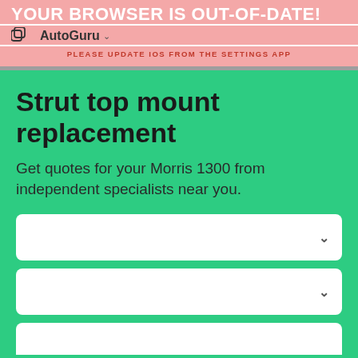YOUR BROWSER IS OUT-OF-DATE!
[Figure (logo): AutoGuru logo with icon]
PLEASE UPDATE IOS FROM THE SETTINGS APP
Strut top mount replacement
Get quotes for your Morris 1300 from independent specialists near you.
[Figure (screenshot): Dropdown selector box 1 with chevron]
[Figure (screenshot): Dropdown selector box 2 with chevron]
[Figure (screenshot): Dropdown selector box 3 partially visible]